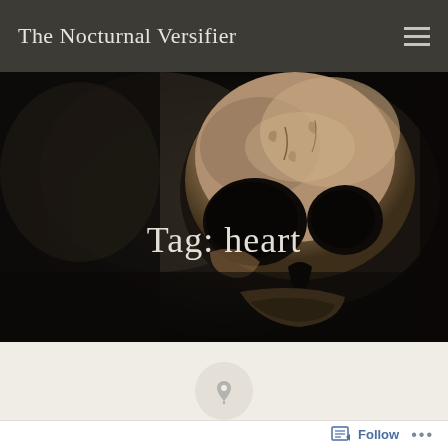The Nocturnal Versifier
[Figure (photo): Dark moody photograph of an aged human skull against a black background, with the text 'Tag: heart' overlaid in white serif font]
Tag: heart
[Figure (illustration): A circular grey push-pin icon on a light beige background]
Posted on December 29, 2020
Follow